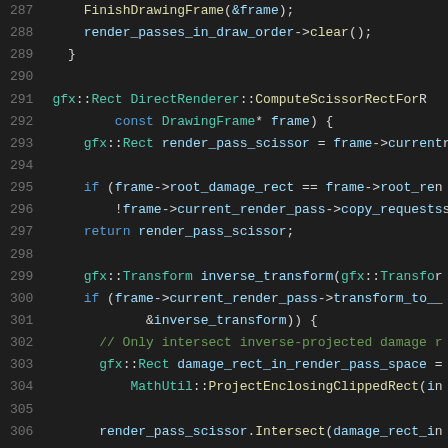Source code listing, lines 287-307, C++ code showing FinishDrawingFrame, render_passes_in_draw_order->clear(), DirectRenderer::ComputeScissorRectFor function body with scissor rect computation logic.